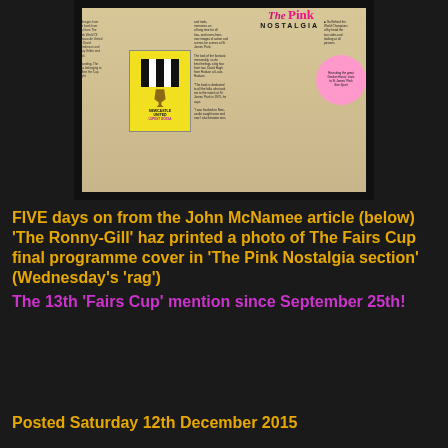[Figure (photo): Photograph of a newspaper page showing 'The Pink Nostalgia' section with a Newcastle United Fairs Cup final programme cover visible, featuring black and white stripes and a trophy]
FIVE days on from the John McNamee article (below) 'The Ronny-Gill' haz printed a photo of The Fairs Cup final programme cover in 'The Pink Nostalgia section' (Wednesday's 'rag')
The 13th 'Fairs Cup' mention since September 25th!
Posted Saturday 12th December 2015